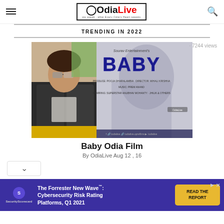OdiaLive — we speak what every Odia's heart speaks
TRENDING IN 2022
· 7244 views
[Figure (photo): Composite image: left half shows a man in leather jacket and sunglasses sitting; right half shows the Odia film 'BABY' poster by Sourav Entertainment, starring Superstar Anubhav Mohanty, produced by Pooja Dharalambia, directed by Mihali Krishna, music by Prem Anand.]
Baby Odia Film
By OdiaLive Aug 12 , 16
[Figure (other): Advertisement banner: SecurityScorecard — The Forrester New Wave™: Cybersecurity Risk Rating Platforms, Q1 2021 — READ THE REPORT button]